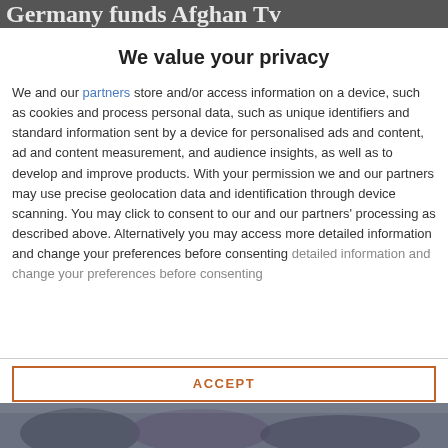Germany funds Afghan Tv
We value your privacy
We and our partners store and/or access information on a device, such as cookies and process personal data, such as unique identifiers and standard information sent by a device for personalised ads and content, ad and content measurement, and audience insights, as well as to develop and improve products. With your permission we and our partners may use precise geolocation data and identification through device scanning. You may click to consent to our and our partners' processing as described above. Alternatively you may access more detailed information and change your preferences before consenting
ACCEPT
MORE OPTIONS
[Figure (photo): Bottom portion of a photo, showing people in muted tones]